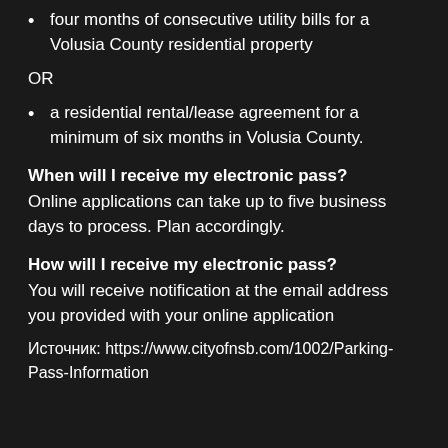four months of consecutive utility bills for a Volusia County residential property
OR
a residential rental/lease agreement for a minimum of six months in Volusia County.
When will I receive my electronic pass?
Online applications can take up to five business days to process. Plan accordingly.
How will I receive my electronic pass?
You will receive notification at the email address you provided with your online application
Источник: https://www.cityofnsb.com/1002/Parking-Pass-Information